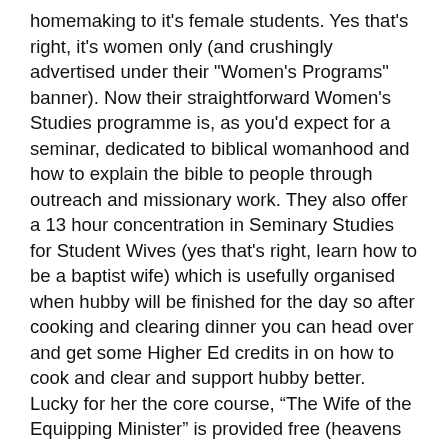homemaking to it's female students. Yes that's right, it's women only (and crushingly advertised under their "Women's Programs" banner). Now their straightforward Women's Studies programme is, as you'd expect for a seminar, dedicated to biblical womanhood and how to explain the bible to people through outreach and missionary work. They also offer a 13 hour concentration in Seminary Studies for Student Wives (yes that's right, learn how to be a baptist wife) which is usefully organised when hubby will be finished for the day so after cooking and clearing dinner you can head over and get some Higher Ed credits in on how to cook and clear and support hubby better. Lucky for her the core course, “The Wife of the Equipping Minister” is provided free (heavens forfend you might have to spend money educating her) and childcare is free so you don't even have to leave the kids where they might disturb hubby's evening.
But the main point for this entry was their new programme on with a concentration in homemaking. Which
endeavors to prepare women to model the